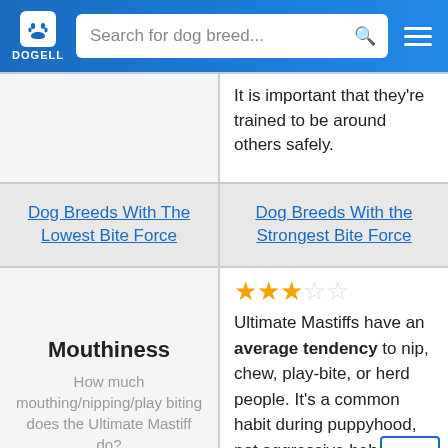DOGELL — Search for dog breed...
It is important that they're trained to be around others safely.
Dog Breeds With The Lowest Bite Force | Dog Breeds With the Strongest Bite Force
Mouthiness
How much mouthing/nipping/play biting does the Ultimate Mastiff do?
Ultimate Mastiffs have an average tendency to nip, chew, play-bite, or herd people. It's a common habit during puppyhood, not aggressive behavior. These "bites" don't hurt but Ultimate Mastiffs